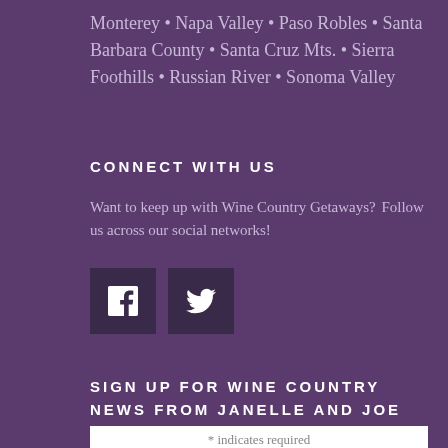Monterey • Napa Valley • Paso Robles • Santa Barbara County • Santa Cruz Mts. • Sierra Foothills • Russian River • Sonoma Valley
CONNECT WITH US
Want to keep up with Wine Country Getaways? Follow us across our social networks!
[Figure (other): Facebook and Twitter social media icon buttons]
SIGN UP FOR WINE COUNTRY NEWS FROM JANELLE AND JOE
* indicates required
Email Address *
SUBSCRIBE